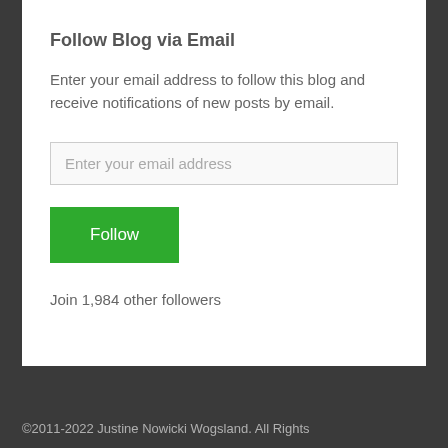Follow Blog via Email
Enter your email address to follow this blog and receive notifications of new posts by email.
Enter your email address
Follow
Join 1,984 other followers
©2011-2022 Justine Nowicki Wogsland. All Rights